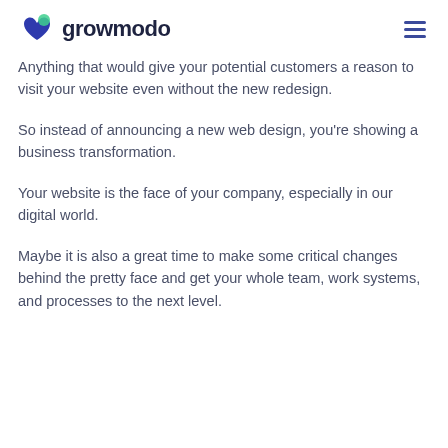growmodo
Anything that would give your potential customers a reason to visit your website even without the new redesign.
So instead of announcing a new web design, you're showing a business transformation.
Your website is the face of your company, especially in our digital world.
Maybe it is also a great time to make some critical changes behind the pretty face and get your whole team, work systems, and processes to the next level.